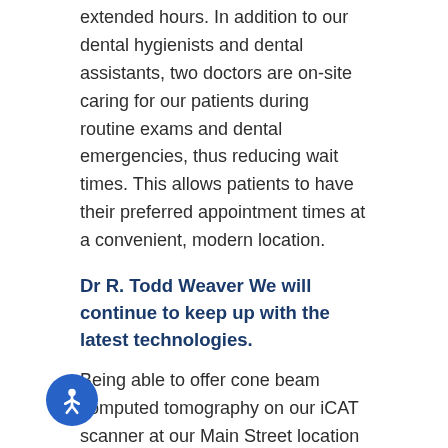extended hours. In addition to our dental hygienists and dental assistants, two doctors are on-site caring for our patients during routine exams and dental emergencies, thus reducing wait times. This allows patients to have their preferred appointment times at a convenient, modern location.
Dr R. Todd Weaver We will continue to keep up with the latest technologies.
Being able to offer cone beam computed tomography on our iCAT scanner at our Main Street location is a big benefit to both doctors and patients. The 3-D scans, created from 600 distinct images, are the most accurate way to plan dental treatments especially for orthodontics, dental implants and endodontics (root canal therapy). “Some of the newer and specialty services we will offer at our new building include bone grafting, implant placement and restoration, Botox®